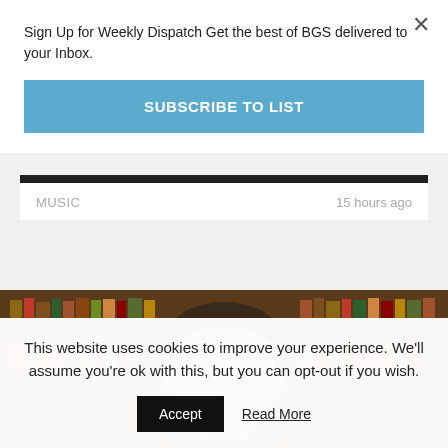Sign Up for Weekly Dispatch Get the best of BGS delivered to your Inbox.
SUBSCRIBE TO LIST
MUSIC   15 hours ago
[Figure (photo): Man in front of a bookshelf filled with books]
This website uses cookies to improve your experience. We'll assume you're ok with this, but you can opt-out if you wish.
Accept   Read More